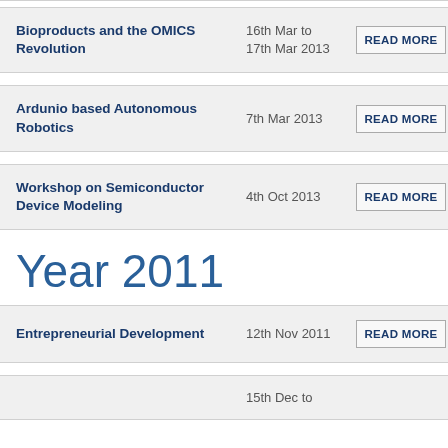Bioproducts and the OMICS Revolution | 16th Mar to 17th Mar 2013 | READ MORE
Ardunio based Autonomous Robotics | 7th Mar 2013 | READ MORE
Workshop on Semiconductor Device Modeling | 4th Oct 2013 | READ MORE
Year 2011
Entrepreneurial Development | 12th Nov 2011 | READ MORE
15th Dec to